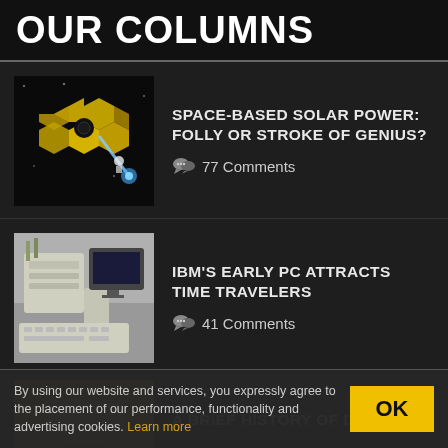OUR COLUMNS
[Figure (photo): Space telescope with gold hexagonal mirrors and a bright beam of light]
SPACE-BASED SOLAR POWER: FOLLY OR STROKE OF GENIUS?
💬 77 Comments
[Figure (photo): Vintage IBM early personal computer with keyboard and components visible]
IBM'S EARLY PC ATTRACTS TIME TRAVELERS
💬 41 Comments
[Figure (photo): Drywall or construction materials partially visible]
A BRIEF HISTORY OF DRYWALL
By using our website and services, you expressly agree to the placement of our performance, functionality and advertising cookies. Learn more
OK